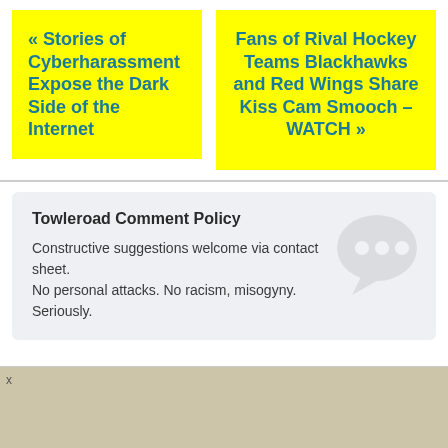« Stories of Cyberharassment Expose the Dark Side of the Internet
Fans of Rival Hockey Teams Blackhawks and Red Wings Share Kiss Cam Smooch – WATCH »
Towleroad Comment Policy
Constructive suggestions welcome via contact sheet. No personal attacks. No racism, misogyny. Seriously.